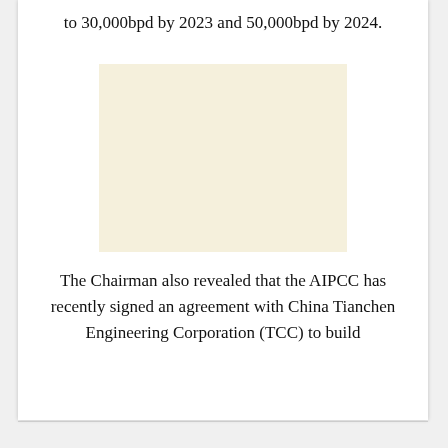to 30,000bpd by 2023 and 50,000bpd by 2024.
[Figure (photo): A blank cream/beige colored image placeholder rectangle.]
The Chairman also revealed that the AIPCC has recently signed an agreement with China Tianchen Engineering Corporation (TCC) to build